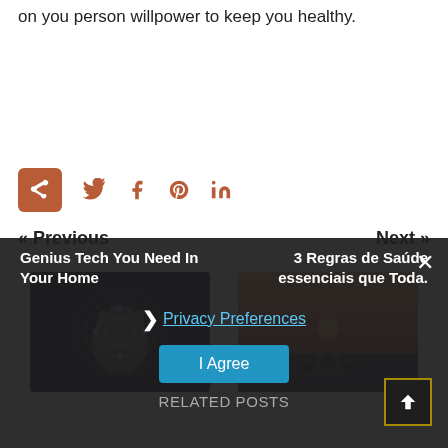on you person willpower to keep you healthy.
[Figure (infographic): Social share bar with share icon (brown), Twitter, Facebook, Pinterest, LinkedIn icons]
« Previous    Next »
[Figure (photo): Thumbnail of person touching digital tech interface (fist with circles)]
[Figure (photo): Thumbnail of sunset over water with zen stones]
Genius Tech You Need In Your Home
3 Regras de Saúde essenciais que Toda.
❯ Privacy Preferences
I Agree
RELATED POSTS